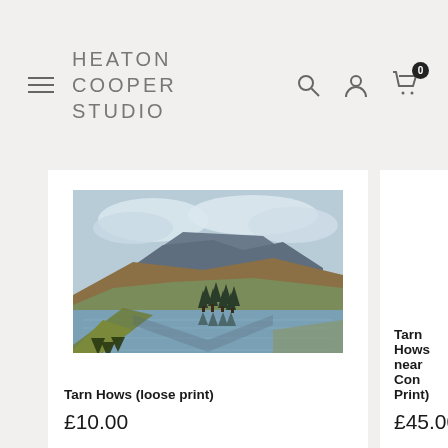HEATON COOPER STUDIO — navigation bar with hamburger menu, logo, search, account, and cart icons
[Figure (photo): Landscape painting of Tarn Hows: a mountain lake with reflections, pine trees, autumn foliage, and cloudy sky]
Tarn Hows (loose print)
£10.00
Tarn Hows near Con... Print)
£45.00